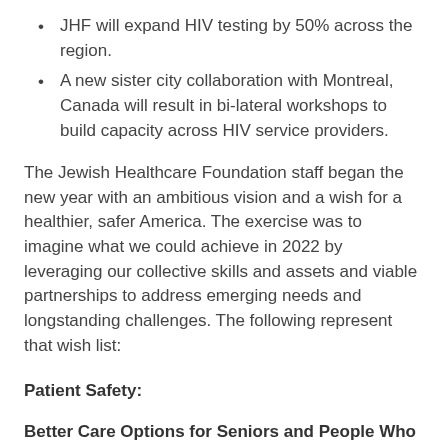JHF will expand HIV testing by 50% across the region.
A new sister city collaboration with Montreal, Canada will result in bi-lateral workshops to build capacity across HIV service providers.
The Jewish Healthcare Foundation staff began the new year with an ambitious vision and a wish for a healthier, safer America. The exercise was to imagine what we could achieve in 2022 by leveraging our collective skills and assets and viable partnerships to address emerging needs and longstanding challenges. The following represent that wish list:
Patient Safety:
Better Care Options for Seniors and People Who are Disabled: